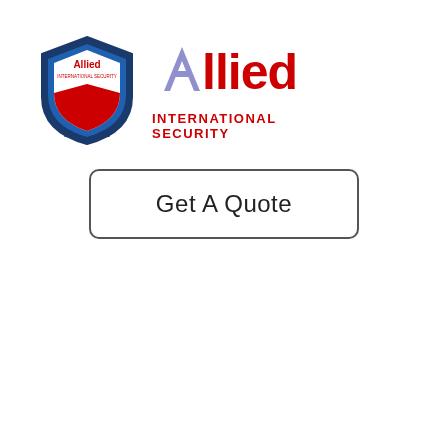[Figure (logo): Allied International Security logo: shield icon on left with 'Allied' text inside, and large stylized 'Allied International Security' wordmark on right in red and purple]
Get A Quote